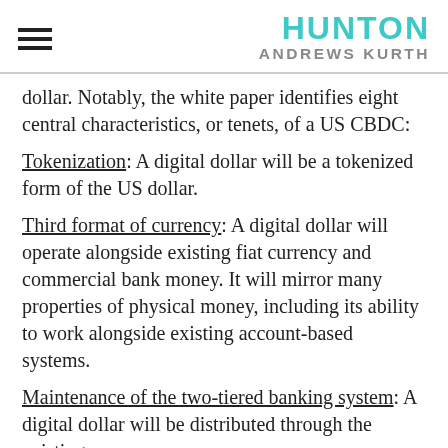HUNTON ANDREWS KURTH
dollar. Notably, the white paper identifies eight central characteristics, or tenets, of a US CBDC:
Tokenization: A digital dollar will be a tokenized form of the US dollar.
Third format of currency: A digital dollar will operate alongside existing fiat currency and commercial bank money. It will mirror many properties of physical money, including its ability to work alongside existing account-based systems.
Maintenance of the two-tiered banking system: A digital dollar will be distributed through the existing